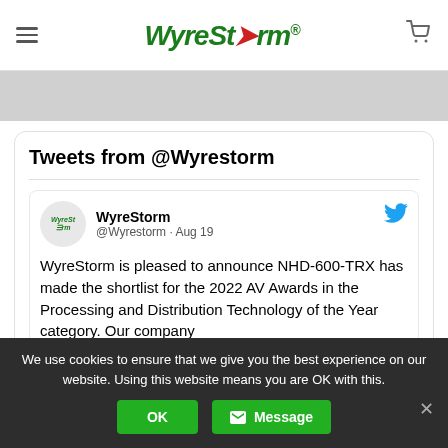WyreStorm website header with hamburger menu and cart icon
[Figure (screenshot): Gray banner/hero image area]
Tweets from @Wyrestorm
WyreStorm @Wyrestorm · Aug 19
WyreStorm is pleased to announce NHD-600-TRX has made the shortlist for the 2022 AV Awards in the Processing and Distribution Technology of the Year category. Our company
We use cookies to ensure that we give you the best experience on our website. Using this website means you are OK with this.